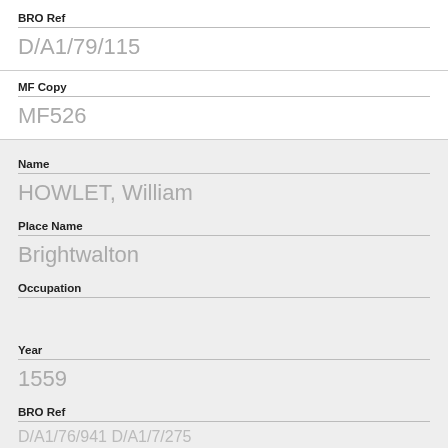BRO Ref
D/A1/79/115
MF Copy
MF526
Name
HOWLET, William
Place Name
Brightwalton
Occupation
Year
1559
BRO Ref
D/A1/76/941 D/A1/7/275